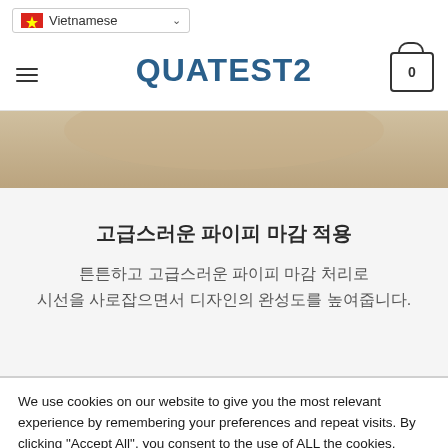Vietnamese | QUATEST2 | 0
[Figure (photo): Partial product image strip showing beige/tan fabric or leather with piping detail]
고급스러운 파이피 마감 적용
튼튼하고 고급스러운 파이피 마감 처리로 시선을 사로잡으면서 디자인의 완성도를 높여줍니다.
We use cookies on our website to give you the most relevant experience by remembering your preferences and repeat visits. By clicking "Accept All", you consent to the use of ALL the cookies. However, you may visit "Cookie Settings" to provide a controlled consent.
Cookie Settings | Accept All